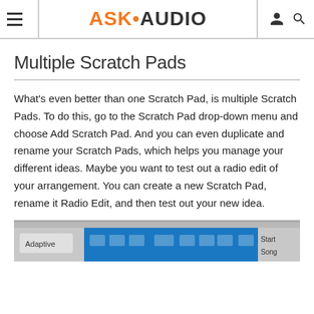ASK•AUDIO
Multiple Scratch Pads
What's even better than one Scratch Pad, is multiple Scratch Pads. To do this, go to the Scratch Pad drop-down menu and choose Add Scratch Pad. And you can even duplicate and rename your Scratch Pads, which helps you manage your different ideas. Maybe you want to test out a radio edit of your arrangement. You can create a new Scratch Pad, rename it Radio Edit, and then test out your new idea.
[Figure (screenshot): Screenshot of a digital audio workstation interface showing a toolbar with transport controls, including Adaptive mode selector, navigation arrows, grid/snap buttons, and Start/Song labels visible on the right side.]